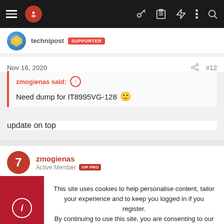Navigation bar with menu, logo, and icons
technipost SUPPORTER
Nov 16, 2020  #12
zmogienas said: ↑
Need dump for IT8995VG-128 🙂
update on top
zmogienas
Active Member VIP PRO
This site uses cookies to help personalise content, tailor your experience and to keep you logged in if you register.
By continuing to use this site, you are consenting to our use of cookies.
✓ Accept   Learn more...